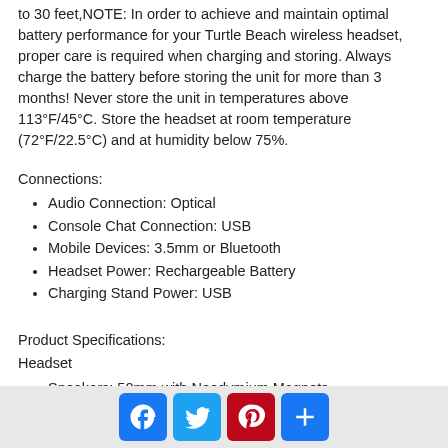to 30 feet,NOTE: In order to achieve and maintain optimal battery performance for your Turtle Beach wireless headset, proper care is required when charging and storing. Always charge the battery before storing the unit for more than 3 months! Never store the unit in temperatures above 113°F/45°C. Store the headset at room temperature (72°F/22.5°C) and at humidity below 75%.
Connections:
Audio Connection: Optical
Console Chat Connection: USB
Mobile Devices: 3.5mm or Bluetooth
Headset Power: Rechargeable Battery
Charging Stand Power: USB
Product Specifications:
Headset
Speakers: 50mm with Neodymium Magnets
Frequency Response: 20Hz - 20kHz
Ear-cup Design: Around-Ear (Closed)
[Figure (other): Social media share buttons: Facebook, Twitter, Pinterest, Share (+)]